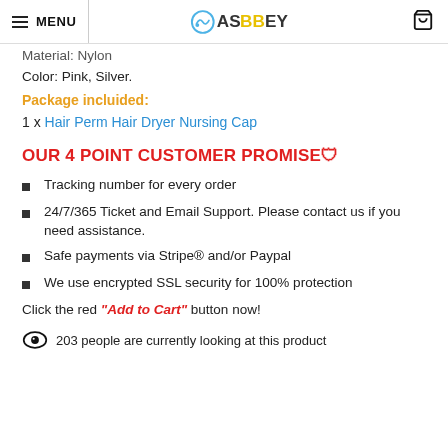MENU | ASBBEY (logo) | Cart
Material: Nylon
Color: Pink, Silver.
Package incluided:
1 x Hair Perm Hair Dryer Nursing Cap
OUR 4 POINT CUSTOMER PROMISE🛡
Tracking number for every order
24/7/365 Ticket and Email Support. Please contact us if you need assistance.
Safe payments via Stripe® and/or Paypal
We use encrypted SSL security for 100% protection
Click the red "Add to Cart" button now!
203 people are currently looking at this product